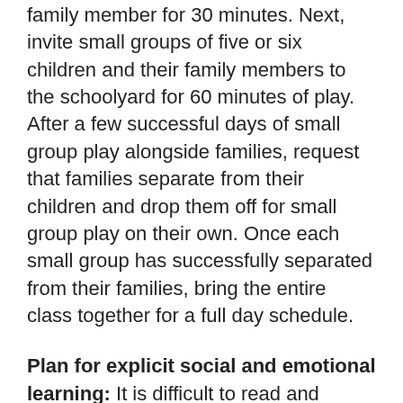family member for 30 minutes. Next, invite small groups of five or six children and their family members to the schoolyard for 60 minutes of play. After a few successful days of small group play alongside families, request that families separate from their children and drop them off for small group play on their own. Once each small group has successfully separated from their families, bring the entire class together for a full day schedule.
Plan for explicit social and emotional learning: It is difficult to read and express emotions when wearing a mask. To compensate, prepare to teach social and emotional learning skills more explicitly